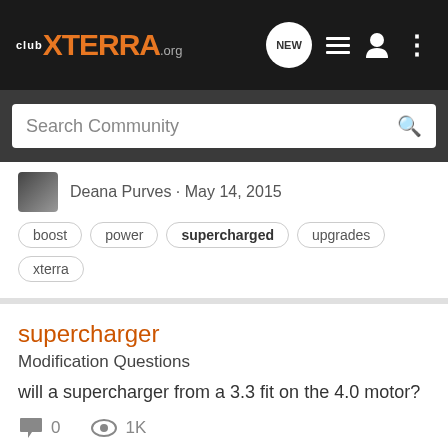clubXTERRA.org
Search Community
Deana Purves · May 14, 2015
boost  power  supercharged  upgrades  xterra
supercharger
Modification Questions
will a supercharger from a 3.3 fit on the 4.0 motor?
0  1K
codyjy23 · Mar 29, 2015
3.3  4.0l  supercharged  supercharger
Chain wrench for crankshaft pulley?? SC bypass valve nonsense??